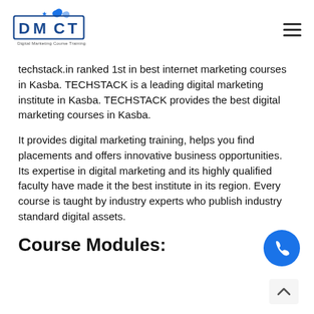[Figure (logo): DMCT Digital Marketing Course Training logo with bird icon]
techstack.in ranked 1st in best internet marketing courses in Kasba. TECHSTACK is a leading digital marketing institute in Kasba. TECHSTACK provides the best digital marketing courses in Kasba.
It provides digital marketing training, helps you find placements and offers innovative business opportunities. Its expertise in digital marketing and its highly qualified faculty have made it the best institute in its region. Every course is taught by industry experts who publish industry standard digital assets.
Course Modules: